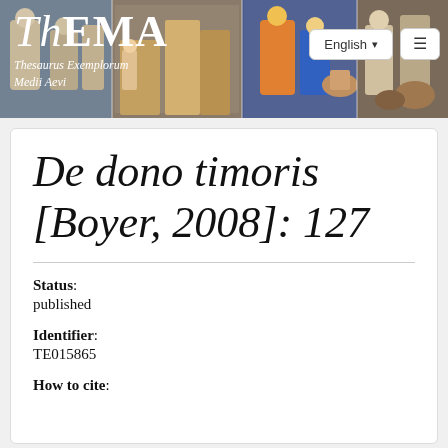ThEMA — Thesaurus Exemplorum Medii Aevi
De dono timoris [Boyer, 2008]: 127
Status: published
Identifier: TE015865
How to cite: